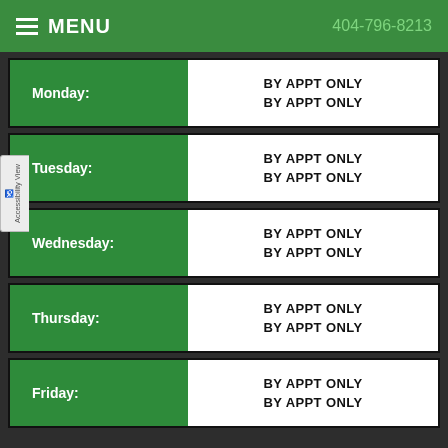MENU | 404-796-8213
| Day | Hours |
| --- | --- |
| Monday: | BY APPT ONLY
BY APPT ONLY |
| Tuesday: | BY APPT ONLY
BY APPT ONLY |
| Wednesday: | BY APPT ONLY
BY APPT ONLY |
| Thursday: | BY APPT ONLY
BY APPT ONLY |
| Friday: | BY APPT ONLY
BY APPT ONLY |